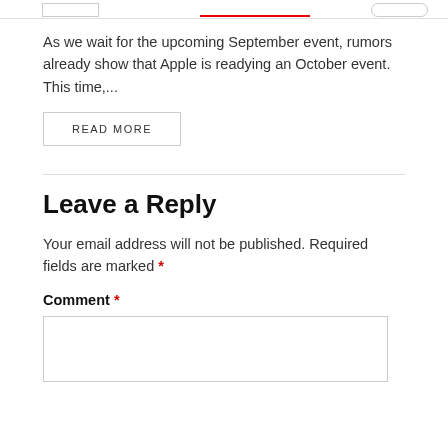[navigation bar with UI elements]
As we wait for the upcoming September event, rumors already show that Apple is readying an October event. This time,...
READ MORE
Leave a Reply
Your email address will not be published. Required fields are marked *
Comment *